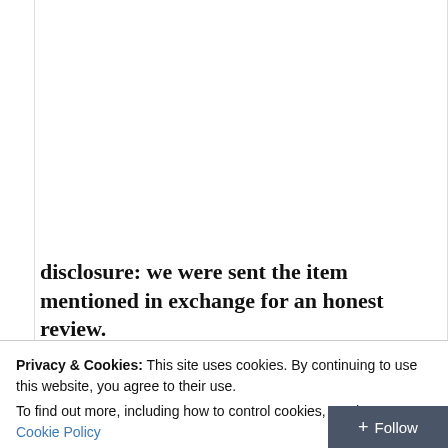disclosure:  we were sent the item mentioned in exchange for an honest review.
Privacy & Cookies: This site uses cookies. By continuing to use this website, you agree to their use.
To find out more, including how to control cookies, see here: Cookie Policy
Close and accept
+ Follow